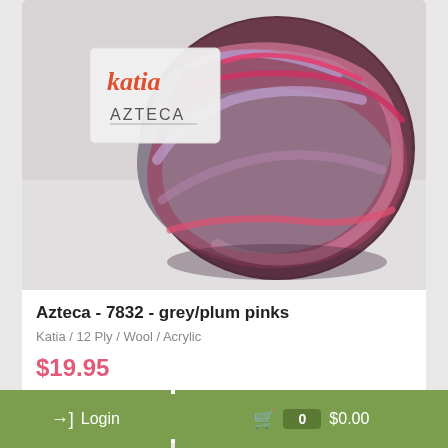[Figure (photo): A ball of Katia Azteca yarn in color 7832 grey/plum pinks. The yarn has mixed grey, pink, and plum tones. The Katia brand label with 'AZTECA' text is visible in white/grey. The background is light grey/white.]
Azteca - 7832 - grey/plum pinks
Katia / 12 Ply / Wool / Acrylic
$19.95
Add to cart
Login
0  $0.00